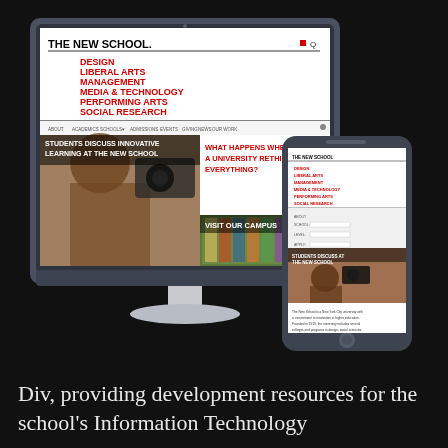[Figure (screenshot): A desktop monitor and a smartphone both displaying The New School website. The website shows the university name 'THE NEW SCHOOL' in bold black, with red navigation links: DESIGN, LIBERAL ARTS, MANAGEMENT, MEDIA & TECHNOLOGY, PERFORMING ARTS, SOCIAL RESEARCH. Below the nav is a photo of a student with text 'STUDENTS DISCUSS INNOVATIVE LEARNING AT THE NEW SCHOOL', and two other sections: 'WHAT HAPPENS WHEN A UNIVERSITY RETHINKS EVERYTHING?' and 'VISIT OUR CAMPUS'. The phone shows a mobile version of the same website.]
Div, providing development resources for the school's Information Technology